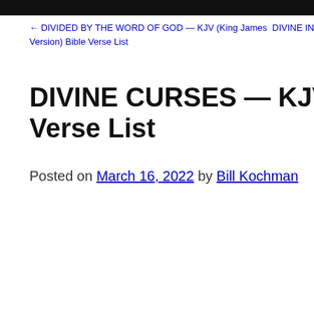← DIVIDED BY THE WORD OF GOD — KJV (King James Version) Bible Verse List   DIVINE INSPIRA…
DIVINE CURSES — KJV (King James… Verse List
Posted on March 16, 2022 by Bill Kochman